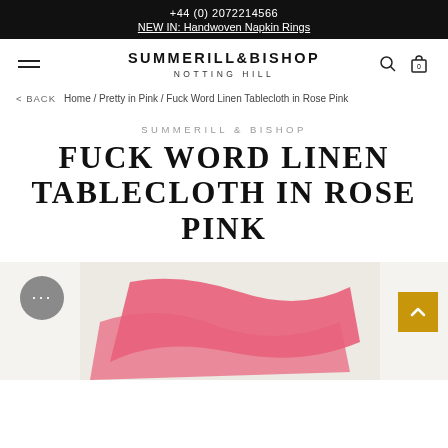+44 (0) 2072214566
NEW IN: Handwoven Napkin Rings
[Figure (logo): Summerill & Bishop Notting Hill brand logo with hamburger menu, search icon and shopping bag icon]
< BACK   Home / Pretty in Pink / Fuck Word Linen Tablecloth in Rose Pink
SUMMERILL & BISHOP
FUCK WORD LINEN TABLECLOTH IN ROSE PINK
[Figure (photo): Product photo showing a pink linen tablecloth folded on a light grey/white surface with a chat widget bubble and scroll-to-top button overlay]